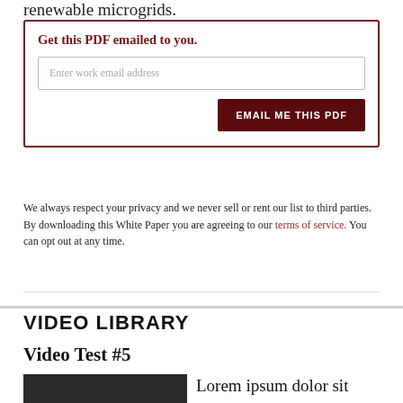renewable microgrids.
Get this PDF emailed to you.
Enter work email address
EMAIL ME THIS PDF
We always respect your privacy and we never sell or rent our list to third parties. By downloading this White Paper you are agreeing to our terms of service. You can opt out at any time.
VIDEO LIBRARY
Video Test #5
[Figure (other): Dark placeholder box with 'VIDEO IMAGE' text in red]
Lorem ipsum dolor sit amet, consectetur adipiscing elit